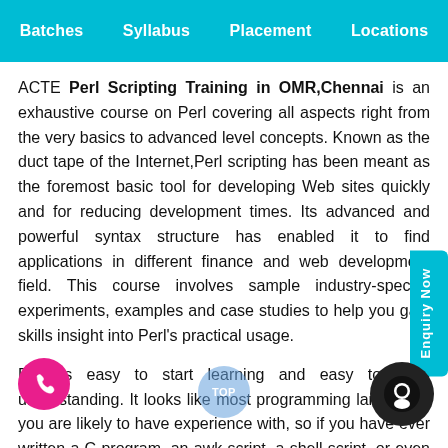Batches  Syllabus  Placement  Locations
ACTE Perl Scripting Training in OMR,Chennai is an exhaustive course on Perl covering all aspects right from the very basics to advanced level concepts. Known as the duct tape of the Internet,Perl scripting has been meant as the foremost basic tool for developing Web sites quickly and for reducing development times. Its advanced and powerful syntax structure has enabled it to find applications in different finance and web development field. This course involves sample industry-specific experiments, examples and case studies to help you gain skills insight into Perl's practical usage.
Perl is easy to start learning and easy to keep understanding. It looks like most programming languages you are likely to have experience with, so if you have ever written a C program, an awk script, a shell script, or even a BASIC program, you're already partway there.It is an amazing